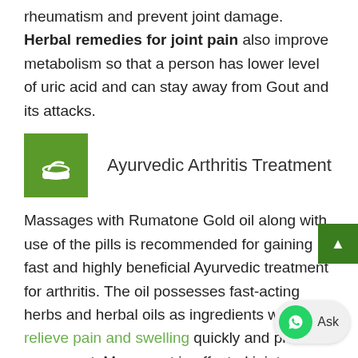rheumatism and prevent joint damage. Herbal remedies for joint pain also improve metabolism so that a person has lower level of uric acid and can stay away from Gout and its attacks.
Ayurvedic Arthritis Treatment
Massages with Rumatone Gold oil along with use of the pills is recommended for gaining fast and highly beneficial Ayurvedic treatment for arthritis. The oil possesses fast-acting herbs and herbal oils as ingredients which relieve pain and swelling quickly and promote movement. Movement in affected joints checks progression of arthritis and